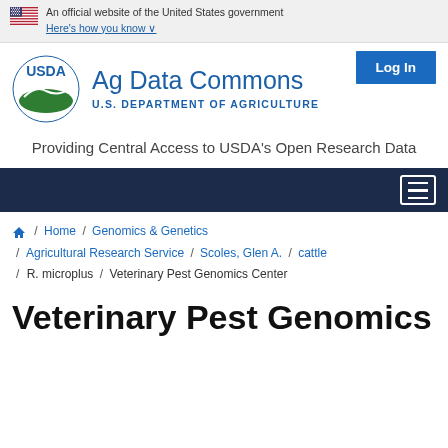An official website of the United States government
Here's how you know ∨
[Figure (logo): USDA Ag Data Commons logo with USDA seal and text 'Ag Data Commons - U.S. DEPARTMENT OF AGRICULTURE']
Providing Central Access to USDA's Open Research Data
Home / Genomics & Genetics / Agricultural Research Service / Scoles, Glen A. / cattle / R. microplus / Veterinary Pest Genomics Center
Veterinary Pest Genomics